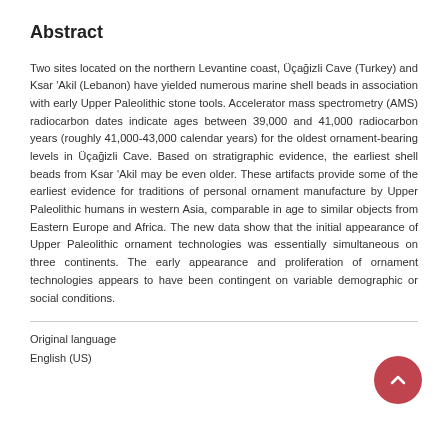Abstract
Two sites located on the northern Levantine coast, Üçağizli Cave (Turkey) and Ksar 'Akil (Lebanon) have yielded numerous marine shell beads in association with early Upper Paleolithic stone tools. Accelerator mass spectrometry (AMS) radiocarbon dates indicate ages between 39,000 and 41,000 radiocarbon years (roughly 41,000-43,000 calendar years) for the oldest ornament-bearing levels in Üçağizli Cave. Based on stratigraphic evidence, the earliest shell beads from Ksar 'Akil may be even older. These artifacts provide some of the earliest evidence for traditions of personal ornament manufacture by Upper Paleolithic humans in western Asia, comparable in age to similar objects from Eastern Europe and Africa. The new data show that the initial appearance of Upper Paleolithic ornament technologies was essentially simultaneous on three continents. The early appearance and proliferation of ornament technologies appears to have been contingent on variable demographic or social conditions.
Original language
English (US)